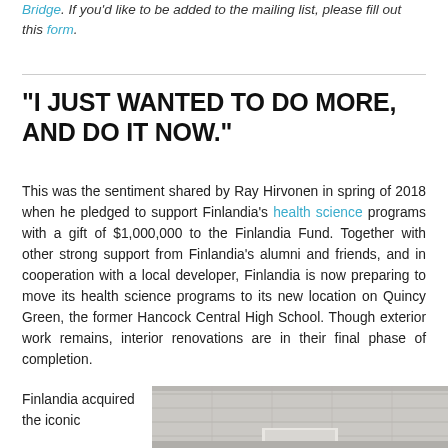Bridge. If you'd like to be added to the mailing list, please fill out this form.
"I JUST WANTED TO DO MORE, AND DO IT NOW." This was the sentiment shared by Ray Hirvonen in spring of 2018 when he pledged to support Finlandia's health science programs with a gift of $1,000,000 to the Finlandia Fund. Together with other strong support from Finlandia's alumni and friends, and in cooperation with a local developer, Finlandia is now preparing to move its health science programs to its new location on Quincy Green, the former Hancock Central High School. Though exterior work remains, interior renovations are in their final phase of completion.
Finlandia acquired the iconic
[Figure (photo): Interior photo of a building under renovation, showing ceiling and partial wall structure]